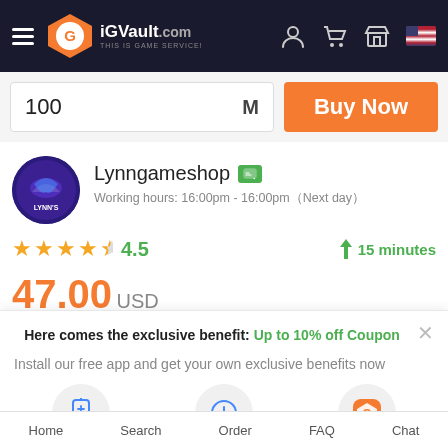iGVault.com — THIS IS GAME SERVICE!
100  M
Buy Now
[Figure (logo): Lynngameshop seller avatar — circular logo with blue/purple background and dolphin/shark graphic with text LYNN'S]
Lynngameshop
Working hours: 16:00pm - 16:00pm（Next day）
★★★★½  4.5    ⚡ 15 minutes
47.00 USD
(0.470000 USD / M)
Here comes the exclusive benefit: Up to 10% off Coupon
Install our free app and get your own exclusive benefits now
1.click   2.Add to home screen   Get coupon
Home   Search   Order   FAQ   Chat